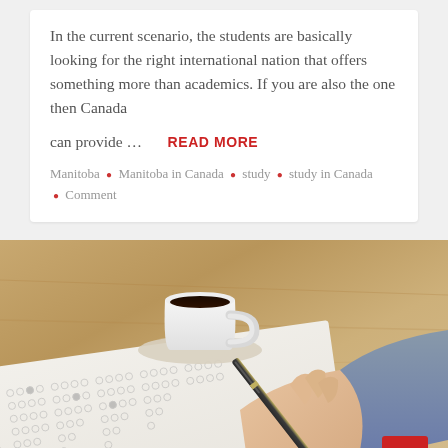In the current scenario, the students are basically looking for the right international nation that offers something more than academics. If you are also the one then Canada can provide …
READ MORE
Manitoba • Manitoba in Canada • study • study in Canada • Comment
[Figure (photo): A person's hand writing on a multiple-choice test/exam sheet with a black pen, alongside a white coffee cup filled with black coffee, on a wooden table surface.]